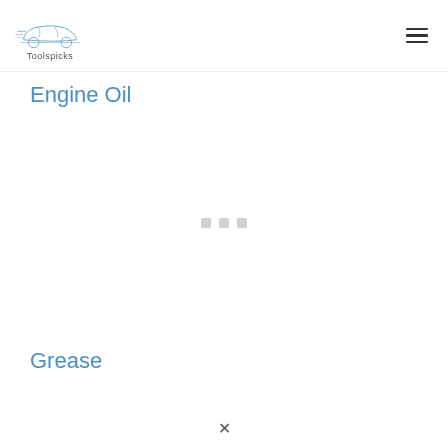Toolspicks
Engine Oil
[Figure (other): Loading indicator: three small grey squares/dots centered on the page]
Grease